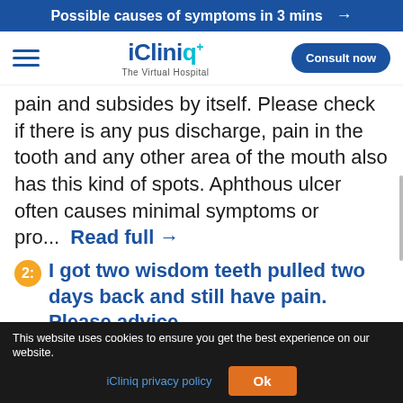Possible causes of symptoms in 3 mins →
[Figure (logo): iCliniq+ The Virtual Hospital logo with hamburger menu and Consult now button]
pain and subsides by itself. Please check if there is any pus discharge, pain in the tooth and any other area of the mouth also has this kind of spots. Aphthous ulcer often causes minimal symptoms or pro... Read full →
2: I got two wisdom teeth pulled two days back and still have pain. Please advice. .. seen the pictures you attached with your query (attachment removed to protect patient identity). Both the extracted regions looks perfectly good. I see that the sutures
This website uses cookies to ensure you get the best experience on our website. iCliniq privacy policy  Ok